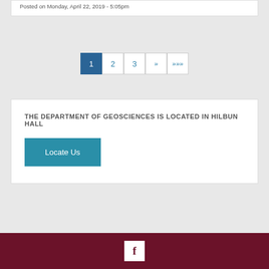Posted on Monday, April 22, 2019 - 5:05pm
1 2 3 » »»» (pagination)
THE DEPARTMENT OF GEOSCIENCES IS LOCATED IN HILBUN HALL
Locate Us
Facebook icon